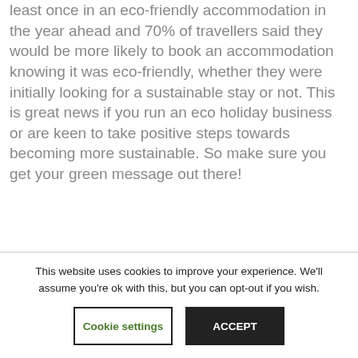least once in an eco-friendly accommodation in the year ahead and 70% of travellers said they would be more likely to book an accommodation knowing it was eco-friendly, whether they were initially looking for a sustainable stay or not. This is great news if you run an eco holiday business or are keen to take positive steps towards becoming more sustainable. So make sure you get your green message out there!
This website uses cookies to improve your experience. We'll assume you're ok with this, but you can opt-out if you wish.